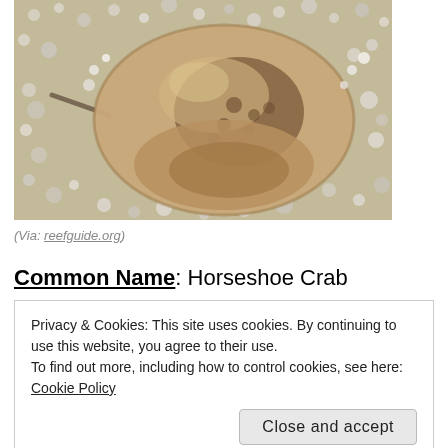[Figure (photo): A horseshoe crab photographed from above on a sandy beach covered with small pebbles and shells. The crab's brown dome-shaped carapace is visible with a long tail spike.]
(Via: reefguide.org)
Common Name: Horseshoe Crab
Privacy & Cookies: This site uses cookies. By continuing to use this website, you agree to their use.
To find out more, including how to control cookies, see here: Cookie Policy